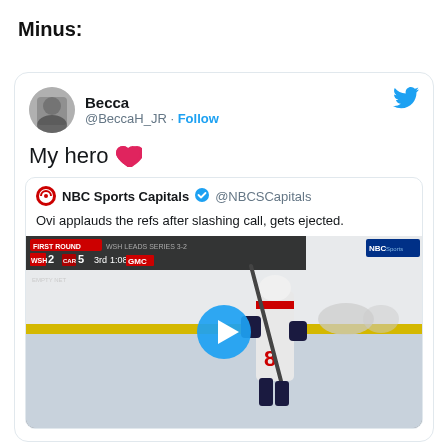Minus:
[Figure (screenshot): Embedded tweet from @BeccaH_JR saying 'My hero ❤️' with a retweet from NBC Sports Capitals @NBCSCapitals: 'Ovi applauds the refs after slashing call, gets ejected.' with a video thumbnail showing a hockey player wearing #8 on the ice with a play button overlay and a scoreboard showing WSH 2 CAR 5, 3rd 1:08.]